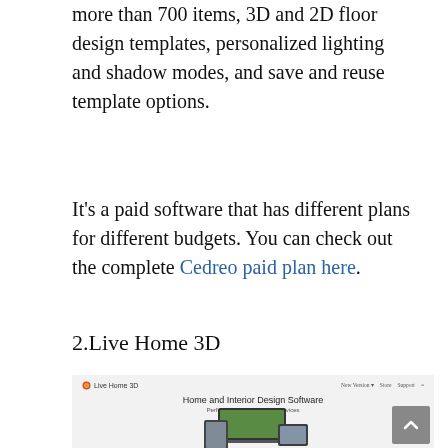more than 700 items, 3D and 2D floor design templates, personalized lighting and shadow modes, and save and reuse template options.
It's a paid software that has different plans for different budgets. You can check out the complete Cedreo paid plan here.
2.Live Home 3D
[Figure (screenshot): Screenshot of Live Home 3D website showing 'Home and Interior Design Software' heading, subtitle 'Perfect solution for all your devices', navigation bar with logo and links, and device mockups below.]